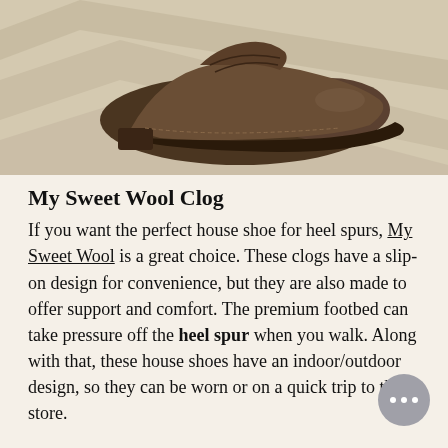[Figure (photo): Photo of a brown leather boot/shoe placed on a light-colored concrete or stone surface with shadows visible. The shoe appears to be a lace-up desert boot style in dark brown worn leather.]
My Sweet Wool Clog
If you want the perfect house shoe for heel spurs, My Sweet Wool is a great choice. These clogs have a slip-on design for convenience, but they are also made to offer support and comfort. The premium footbed can take pressure off the heel spur when you walk. Along with that, these house shoes have an indoor/outdoor design, so they can be worn or on a quick trip to the store.